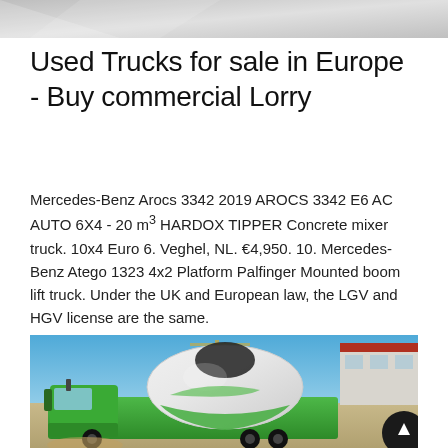[Figure (photo): Gray gradient banner/header image at the top of the page]
Used Trucks for sale in Europe - Buy commercial Lorry
Mercedes-Benz Arocs 3342 2019 AROCS 3342 E6 AC AUTO 6X4 - 20 m³ HARDOX TIPPER Concrete mixer truck. 10x4 Euro 6. Veghel, NL. €4,950. 10. Mercedes-Benz Atego 1323 4x2 Platform Palfinger Mounted boom lift truck. Under the UK and European law, the LGV and HGV license are the same.
[Figure (photo): Photo of a green concrete mixer truck (cement truck) outdoors against a blue sky, with a warehouse building in the background. A scroll-to-top button is visible in the bottom right corner.]